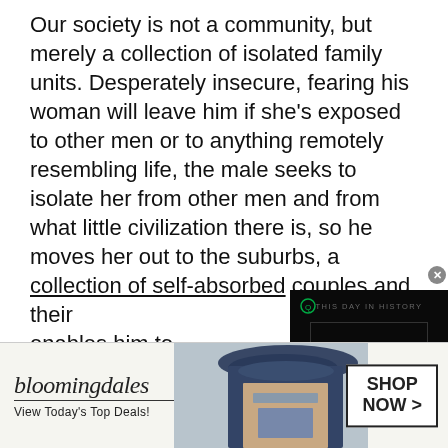Our society is not a community, but merely a collection of isolated family units. Desperately insecure, fearing his woman will leave him if she's exposed to other men or to anything remotely resembling life, the male seeks to isolate her from other men and from what little civilization there is, so he moves her out to the suburbs, a collection of self-absorbed couples and their [video overlay] enables him to try being an individua individualist, a lo operation and soli Valerie Solanas
[Figure (screenshot): Video player overlay with dark background showing 'THIS DAY IN HISTORY' text, blue angular play button logo, 'AUGUST' label, green circle icon, and mute icon]
[Figure (screenshot): Bloomingdale's advertisement banner with logo, 'View Today's Top Deals!' tagline, woman in blue hat, and 'SHOP NOW >' button]